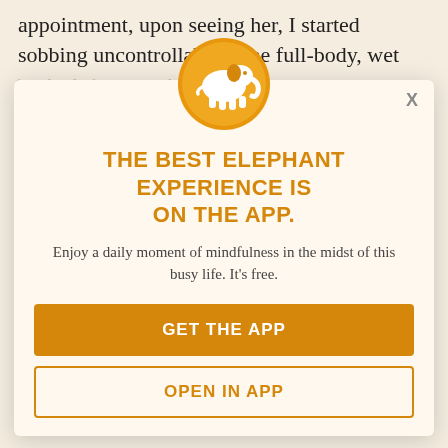appointment, upon seeing her, I started sobbing uncontrollably—the full-body, wet face kind of crying, ugly crying. I did not yet fully understand what was wrong, how to fix it, or why Pricedon thought my pain was intense but nameless and faceless.
[Figure (logo): Orange circle with white elephant icon — Elephant app logo]
THE BEST ELEPHANT EXPERIENCE IS ON THE APP.
Enjoy a daily moment of mindfulness in the midst of this busy life. It's free.
GET THE APP
OPEN IN APP